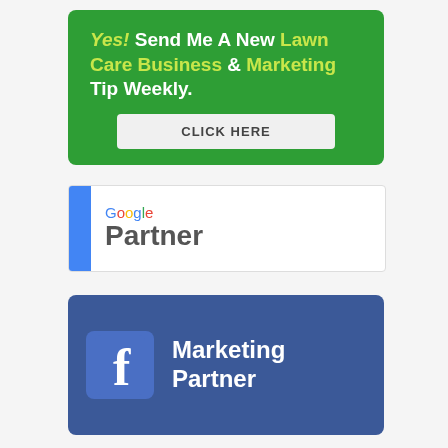[Figure (infographic): Green call-to-action banner reading 'Yes! Send Me A New Lawn Care Business & Marketing Tip Weekly.' with a CLICK HERE button]
[Figure (logo): Google Partner badge with blue vertical bar on left and Google Partner text]
[Figure (logo): Facebook Marketing Partner badge with Facebook 'f' logo on blue background and white text saying Marketing Partner]